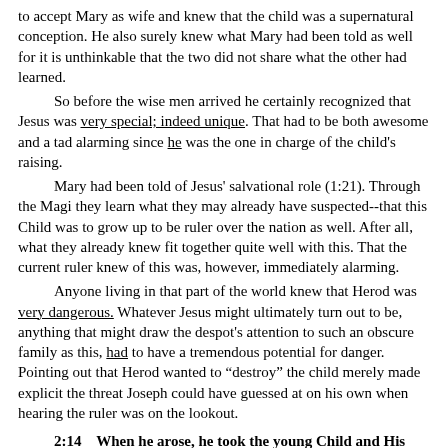to accept Mary as wife and knew that the child was a supernatural conception.  He also surely knew what Mary had been told as well for it is unthinkable that the two did not share what the other had learned.
So before the wise men arrived he certainly recognized that Jesus was very special; indeed unique.  That had to be both awesome and a tad alarming since he was the one in charge of the child's raising.
Mary had been told of Jesus' salvational role (1:21). Through the Magi they learn what they may already have suspected--that this Child was to grow up to be ruler over the nation as well.  After all, what they already knew fit together quite well with this.  That the current ruler knew of this was, however, immediately alarming.
Anyone living in that part of the world knew that Herod was very dangerous.  Whatever Jesus might ultimately turn out to be, anything that might draw the despot's attention to such an obscure family as this, had to have a tremendous potential for danger.  Pointing out that Herod wanted to "destroy" the child merely made explicit the threat Joseph could have guessed at on his own when hearing the ruler was on the lookout.
2:14  When he arose, he took the young Child and His mother by night and departed for Egypt.  Note the connection in the verse:  He arose/he took.  This could well mean the same night